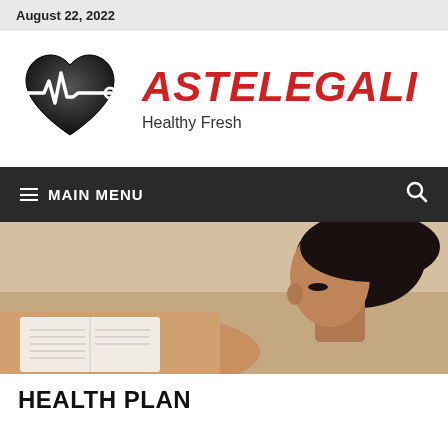August 22, 2022
[Figure (logo): Heart with ECG/pulse line logo icon in black with white line]
ASTELEGALI
Healthy Fresh
☰  MAIN MENU
[Figure (photo): Woman sitting on a couch reading a book, viewed from side profile]
HEALTH PLAN